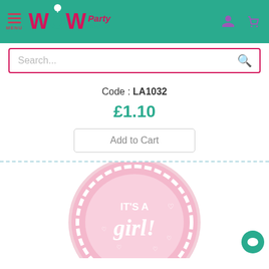[Figure (logo): WOW Party Supplies logo with teal background header, menu hamburger icon on left, user and cart icons on right]
[Figure (screenshot): Search bar with pink/magenta border and purple search icon]
Code : LA1032
£1.10
Add to Cart
[Figure (photo): Pink round foil balloon with 'IT'S A girl!' text in white on pink background with decorative scalloped border]